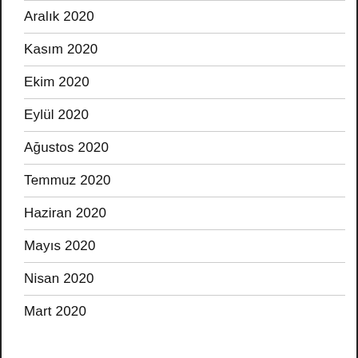Aralık 2020
Kasım 2020
Ekim 2020
Eylül 2020
Ağustos 2020
Temmuz 2020
Haziran 2020
Mayıs 2020
Nisan 2020
Mart 2020